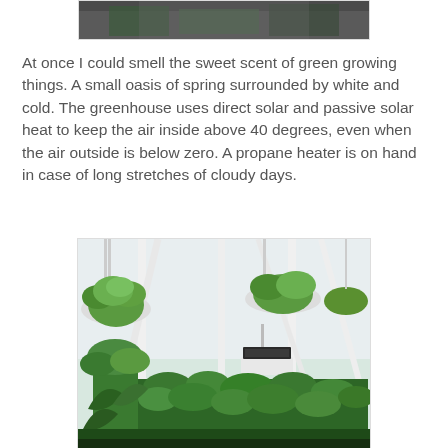[Figure (photo): Top portion of a photo, partially cropped, showing a dark indoor or outdoor scene.]
At once I could smell the sweet scent of green growing things. A small oasis of spring surrounded by white and cold. The greenhouse uses direct solar and passive solar heat to keep the air inside above 40 degrees, even when the air outside is below zero. A propane heater is on hand in case of long stretches of cloudy days.
[Figure (photo): Interior of a greenhouse showing hanging baskets with green leafy plants, white structural frames, and lush green plants growing below including what appears to be Swiss chard and other vegetables, with bright light coming through the transparent panels.]